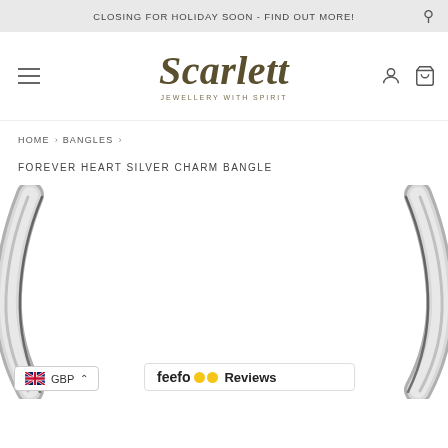CLOSING FOR HOLIDAY SOON - FIND OUT MORE!
[Figure (logo): Scarlett Jewellery With Spirit logo in dark olive/gold serif italic font]
HOME › BANGLES ›
FOREVER HEART SILVER CHARM BANGLE
[Figure (photo): Close-up photo of a silver bangle bracelet on white background, showing two curved sections of the circular bangle with reflective silver finish]
GBP
feefo Reviews